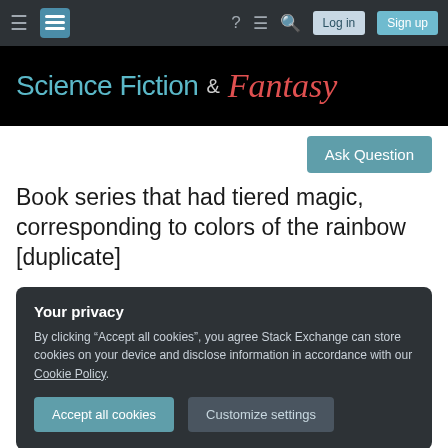Science Fiction & Fantasy Stack Exchange navigation bar with hamburger menu, logo, help, chat, search icons, Log in and Sign up buttons
[Figure (screenshot): Science Fiction & Fantasy site logo: 'Science Fiction & Fantasy' text on black background, 'Science Fiction' in teal sans-serif, '&' in gray, 'Fantasy' in red decorative script]
Ask Question
Book series that had tiered magic, corresponding to colors of the rainbow [duplicate]
Your privacy
By clicking "Accept all cookies", you agree Stack Exchange can store cookies on your device and disclose information in accordance with our Cookie Policy.
Accept all cookies  Customize settings
Closed 3 months ago.